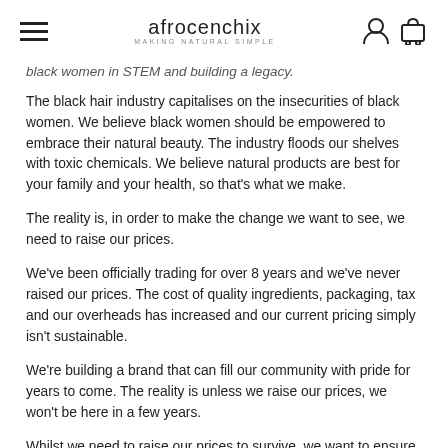afrocenchix — MAKING NATURAL SIMPLE
black women in STEM and building a legacy.
The black hair industry capitalises on the insecurities of black women. We believe black women should be empowered to embrace their natural beauty. The industry floods our shelves with toxic chemicals. We believe natural products are best for your family and your health, so that's what we make.
The reality is, in order to make the change we want to see, we need to raise our prices.
We've been officially trading for over 8 years and we've never raised our prices. The cost of quality ingredients, packaging, tax and our overheads has increased and our current pricing simply isn't sustainable.
We're building a brand that can fill our community with pride for years to come. The reality is unless we raise our prices, we won't be here in a few years.
Whilst we need to raise our prices to survive, we want to ensure this doesn't reduce accessibility for our loyal